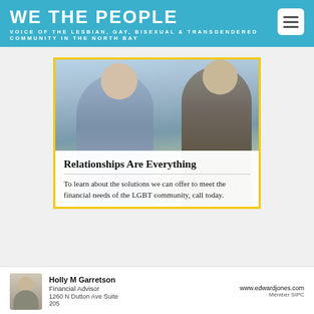WE THE PEOPLE
VOICE OF THE LESBIAN, GAY, BISEXUAL & TRANSGENDERED COMMUNITY IN THE NORTH BAY
[Figure (photo): Advertisement showing two older women smiling outdoors. Yellow-bordered ad for Edward Jones with text 'Relationships Are Everything' and body copy about LGBT community financial services. Bottom shows advisor Holly M Garretson photo and contact info.]
Relationships Are Everything
To learn about the solutions we can offer to meet the financial needs of the LGBT community, call today.
Holly M Garretson
Financial Advisor
1260 N Dutton Ave Suite 205
www.edwardjones.com
Member SIPC